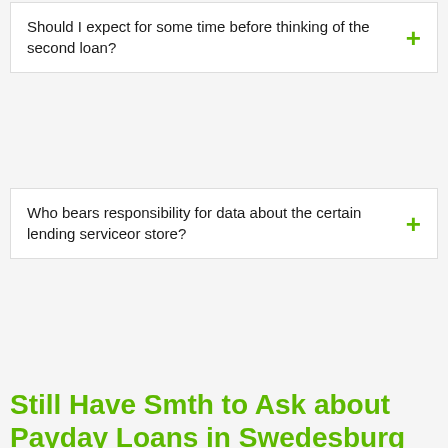Should I expect for some time before thinking of the second loan?
Who bears responsibility for data about the certain lending serviceor store?
Still Have Smth to Ask about Payday Loans in Swedesburg (IA)?
Don't become upset if you have missed answers on questions you are interested in above and have doubts about deciding on payday loans in Swedesburg. We are online on a twenty-four hour basis so that you would use our company on the 24-